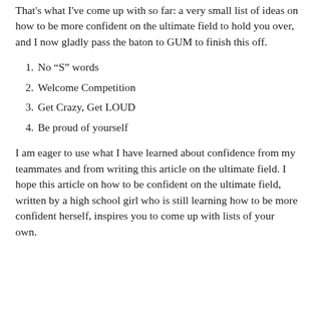That’s what I’ve come up with so far: a very small list of ideas on how to be more confident on the ultimate field to hold you over, and I now gladly pass the baton to GUM to finish this off.
No “S” words
Welcome Competition
Get Crazy, Get LOUD
Be proud of yourself
I am eager to use what I have learned about confidence from my teammates and from writing this article on the ultimate field. I hope this article on how to be confident on the ultimate field, written by a high school girl who is still learning how to be more confident herself, inspires you to come up with lists of your own.